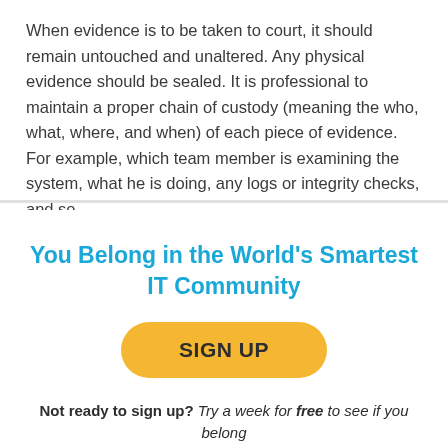When evidence is to be taken to court, it should remain untouched and unaltered. Any physical evidence should be sealed. It is professional to maintain a proper chain of custody (meaning the who, what, where, and when) of each piece of evidence. For example, which team member is examining the system, what he is doing, any logs or integrity checks, and so
You Belong in the World's Smartest IT Community
[Figure (other): Yellow rounded button with text SIGN UP in bold dark text]
Not ready to sign up? Try a week for free to see if you belong